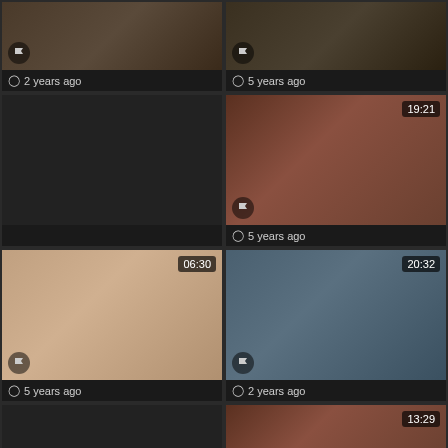[Figure (screenshot): Video thumbnail grid item 1, 2 years ago]
2 years ago
[Figure (screenshot): Video thumbnail grid item 2, 5 years ago]
5 years ago
[Figure (screenshot): Video thumbnail grid item 3, dark/blank, no timestamp]
[Figure (screenshot): Video thumbnail grid item 4, duration 19:21, 5 years ago]
5 years ago
[Figure (screenshot): Video thumbnail grid item 5, duration 06:30, 5 years ago]
5 years ago
[Figure (screenshot): Video thumbnail grid item 6, duration 20:32, 2 years ago]
2 years ago
[Figure (screenshot): Video thumbnail grid item 7, dark/blank]
[Figure (screenshot): Video thumbnail grid item 8, duration 13:29]